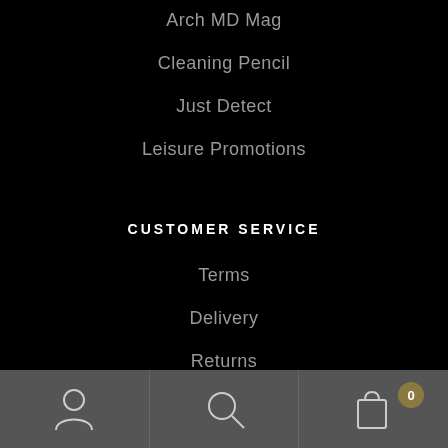Arch MD Mag
Cleaning Pencil
Just Detect
Leisure Promotions
CUSTOMER SERVICE
Terms
Delivery
Returns
Contact
User icon | Search icon | Cart icon with badge 0